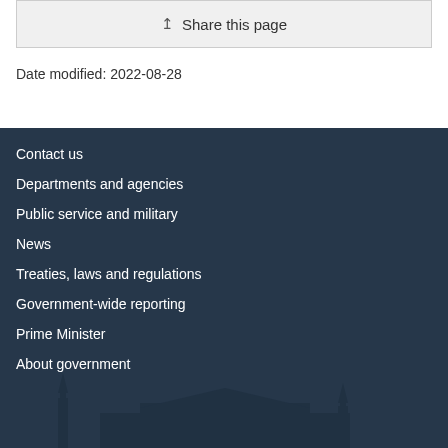Share this page
Date modified: 2022-08-28
Contact us
Departments and agencies
Public service and military
News
Treaties, laws and regulations
Government-wide reporting
Prime Minister
About government